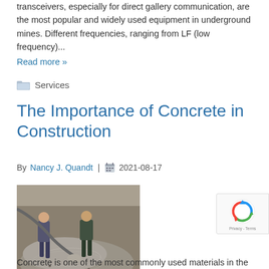transceivers, especially for direct gallery communication, are the most popular and widely used equipment in underground mines. Different frequencies, ranging from LF (low frequency)...
Read more »
Services
The Importance of Concrete in Construction
By Nancy J. Quandt | 2021-08-17
[Figure (photo): Workers pouring and spreading concrete on a construction site, viewed from above.]
Concrete is one of the most commonly used materials in the